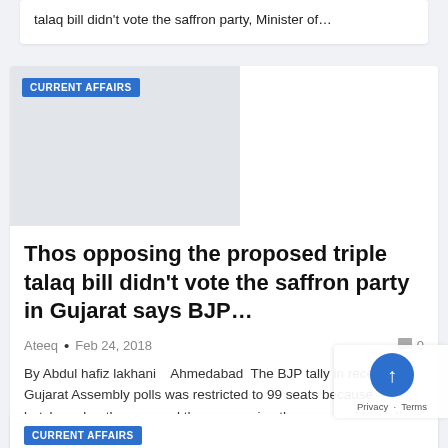talaq bill didn't vote the saffron party, Minister of…
[Figure (photo): Gray placeholder image with CURRENT AFFAIRS category badge]
Thos opposing the proposed triple talaq bill didn't vote the saffron party in Gujarat says BJP…
Ateeq • Feb 24, 2018  0
By Abdul hafiz lakhani    Ahmedabad  The BJP tally in recent Gujarat Assembly polls was restricted to 99 seats because butchers, bootleggers and those opposing the proposed triple talaq bill didn't vote the saffron party, Minister of…